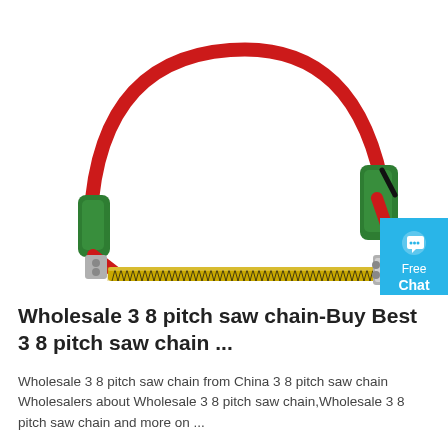[Figure (photo): A bow saw with a red metal arch frame, green rubber grips at both ends, and a gold/yellow serrated blade. A blue 'Free Chat' button overlay appears on the right side.]
Wholesale 3 8 pitch saw chain-Buy Best 3 8 pitch saw chain ...
Wholesale 3 8 pitch saw chain from China 3 8 pitch saw chain Wholesalers about Wholesale 3 8 pitch saw chain,Wholesale 3 8 pitch saw chain and more on ...